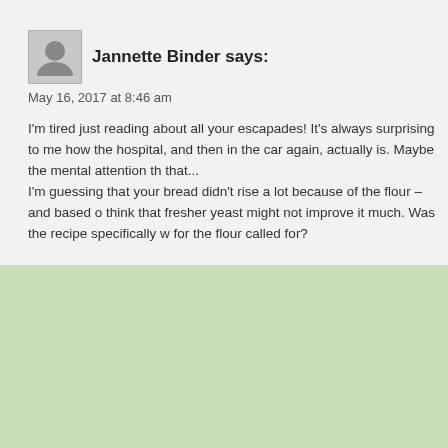Jannette Binder says:
May 16, 2017 at 8:46 am
I'm tired just reading about all your escapades! It's always surprising to me how the hospital, and then in the car again, actually is. Maybe the mental attention th that...
I'm guessing that your bread didn't rise a lot because of the flour – and based o think that fresher yeast might not improve it much. Was the recipe specifically w for the flour called for?
[Figure (other): Light green rectangular area filling the bottom portion of the page]